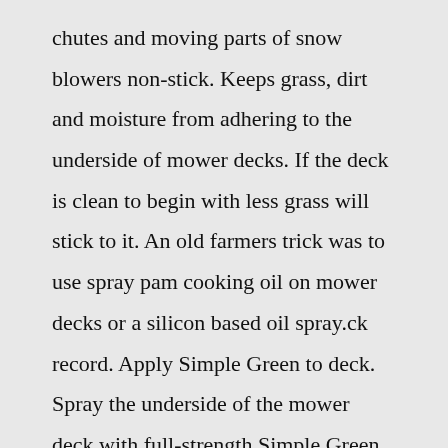chutes and moving parts of snow blowers non-stick. Keeps grass, dirt and moisture from adhering to the underside of mower decks. If the deck is clean to begin with less grass will stick to it. An old farmers trick was to use spray pam cooking oil on mower decks or a silicon based oil spray.ck record. Apply Simple Green to deck. Spray the underside of the mower deck with full-strength Simple Green All-Purpose Cleaner.